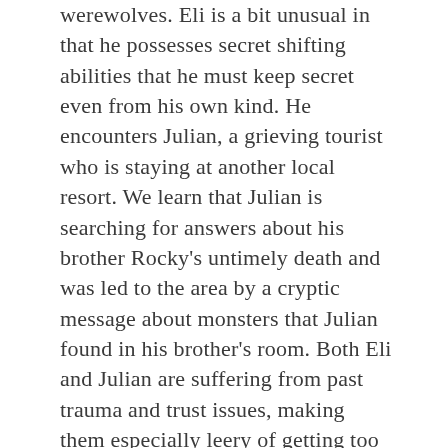werewolves. Eli is a bit unusual in that he possesses secret shifting abilities that he must keep secret even from his own kind. He encounters Julian, a grieving tourist who is staying at another local resort. We learn that Julian is searching for answers about his brother Rocky's untimely death and was led to the area by a cryptic message about monsters that Julian found in his brother's room. Both Eli and Julian are suffering from past trauma and trust issues, making them especially leery of getting too close to the other. Eli fears that Julian would reject him if he learned that Eli was a shifter. And Julian… well, he has his own secrets.
The title in this novel is perfect as there certainly